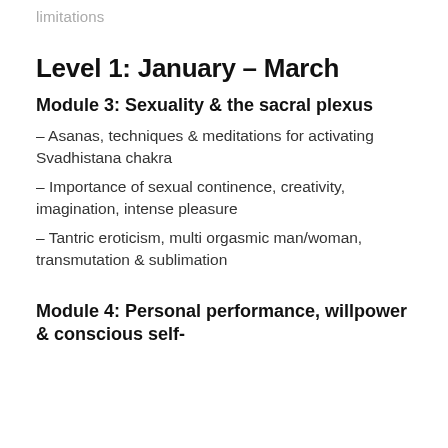limitations
Level 1: January – March
Module 3: Sexuality & the sacral plexus
– Asanas, techniques & meditations for activating Svadhistana chakra
– Importance of sexual continence, creativity, imagination, intense pleasure
– Tantric eroticism, multi orgasmic man/woman, transmutation & sublimation
Module 4: Personal performance, willpower & conscious self-